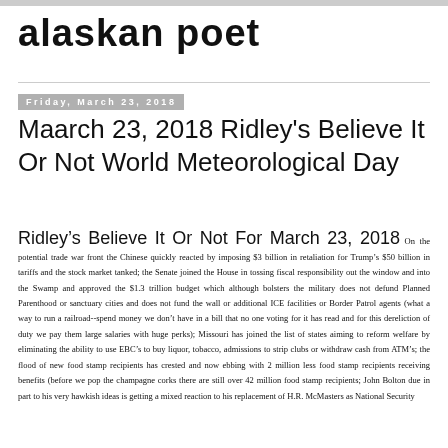alaskan poet
Friday, March 23, 2018
Maarch 23, 2018 Ridley's Believe It Or Not World Meteorological Day
Ridley’s Believe It Or Not For March 23, 2018 On the potential trade war front the Chinese quickly reacted by imposing $3 billion in retaliation for Trump’s $50 billion in tariffs and the stock market tanked; the Senate joined the House in tossing fiscal responsibility out the window and into the Swamp and approved the $1.3 trillion budget which although bolsters the military does not defund Planned Parenthood or sanctuary cities and does not fund the wall or additional ICE facilities or Border Patrol agents (what a way to run a railroad--spend money we don’t have in a bill that no one voting for it has read and for this dereliction of duty we pay them large salaries with huge perks); Missouri has joined the list of states aiming to reform welfare by eliminating the ability to use EBC’s to buy liquor, tobacco, admissions to strip clubs or withdraw cash from ATM’s; the flood of new food stamp recipients has crested and now ebbing with 2 million less food stamp recipients receiving benefits (before we pop the champagne corks there are still over 42 million food stamp recipients; John Bolton due in part to his very hawkish ideas is getting a mixed reaction to his replacement of H.R. McMasters as National Security